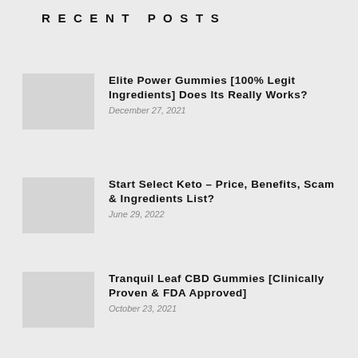Recent Posts
Elite Power Gummies [100% Legit Ingredients] Does Its Really Works?
December 27, 2021
Start Select Keto – Price, Benefits, Scam & Ingredients List?
June 29, 2022
Tranquil Leaf CBD Gummies [Clinically Proven & FDA Approved]
October 23, 2021
Epik Health Keto Boost {BHB PILLS} Is It Worth To Try?
February 13, 2022